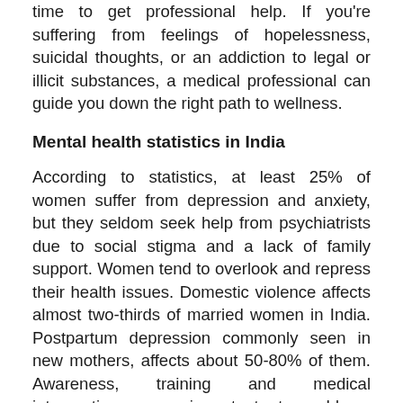time to get professional help. If you're suffering from feelings of hopelessness, suicidal thoughts, or an addiction to legal or illicit substances, a medical professional can guide you down the right path to wellness.
Mental health statistics in India
According to statistics, at least 25% of women suffer from depression and anxiety, but they seldom seek help from psychiatrists due to social stigma and a lack of family support. Women tend to overlook and repress their health issues. Domestic violence affects almost two-thirds of married women in India. Postpartum depression commonly seen in new mothers, affects about 50-80% of them. Awareness, training and medical interventions are important to address women's mental health.
Ways to improve mental health in women